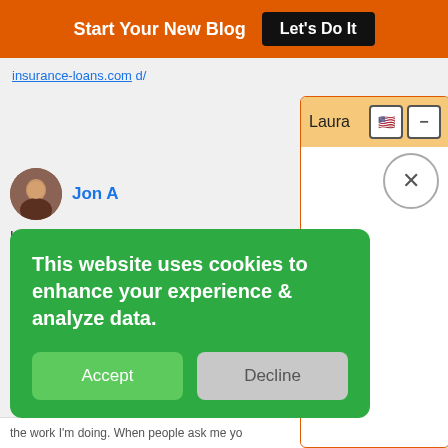Start Your New Blog  Let's Do It
insurance-loans.com  d/
Jon A
Hi Do certainly agree w and if you are k successful. Hap plan. Thanks fo .-= Jon Alfredss Accountability
[Figure (screenshot): Chat widget popup with header 'Laura', flag icon button, minimize button, close X button, and empty white chat body area]
This website uses cookies to enhance your experience & analyze data.
Accept
Decline
the work I'm doing. When people ask me yo Steady Stream Leads